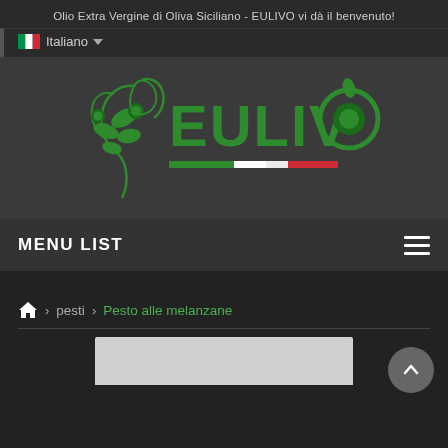Olio Extra Vergine di Oliva Siciliano - EULIVO vi dà il benvenuto!
Italiano
[Figure (logo): EULIVO brand logo with green olive branch figure and EULIVO text in green, with Italian flag tricolor underline]
MENU LIST
Home > pesti > Pesto alle melanzane